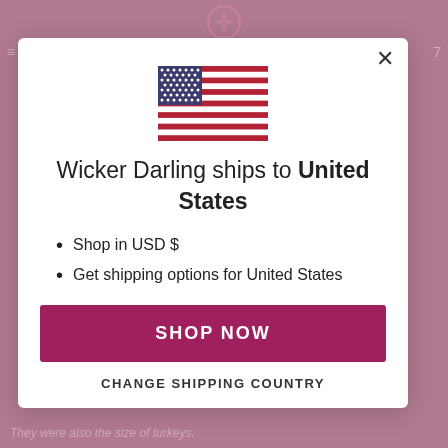[Figure (screenshot): A modal dialog popup over a pink/mauve website background. The modal contains a US flag SVG, headline text, bullet points, a pink 'SHOP NOW' button, and a 'CHANGE SHIPPING COUNTRY' link. Behind the modal, a faint Shopify-like logo is visible at the top, and partial website text is visible at bottom.]
Wicker Darling ships to United States
Shop in USD $
Get shipping options for United States
SHOP NOW
CHANGE SHIPPING COUNTRY
They were also the size of turkeys.